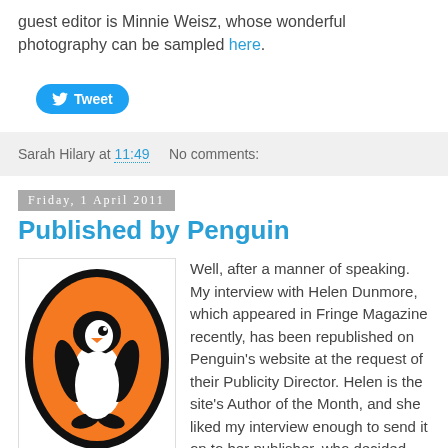guest editor is Minnie Weisz, whose wonderful photography can be sampled here.
[Figure (other): Twitter Tweet button (blue rounded rectangle with bird icon and 'Tweet' text)]
Sarah Hilary at 11:49   No comments:
Friday, 1 April 2011
Published by Penguin
[Figure (logo): Penguin Books logo: a black penguin on an orange oval, surrounded by a black border oval]
Well, after a manner of speaking. My interview with Helen Dunmore, which appeared in Fringe Magazine recently, has been republished on Penguin's website at the request of their Publicity Director. Helen is the site's Author of the Month, and she liked my interview enough to send it on to her publisher, who decided Penguin's readers would like it too. So here it is, in situ, for the